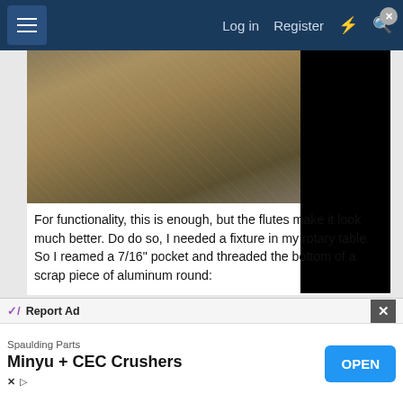Log in  Register
[Figure (photo): Close-up photo of a metal surface with brown/gold tones, partially obscured by a black rectangle on the right side]
For functionality, this is enough, but the flutes make it look much better. Do do so, I needed a fixture in my rotary table. So I reamed a 7/16" pocket and threaded the bottom of a scrap piece of aluminum round:
[Figure (photo): Photo of a machined aluminum round piece mounted in a rotary table fixture, showing metallic silver part with bolts, on a tiled surface]
Report Ad
Spaulding Parts
Minyu + CEC Crushers
OPEN